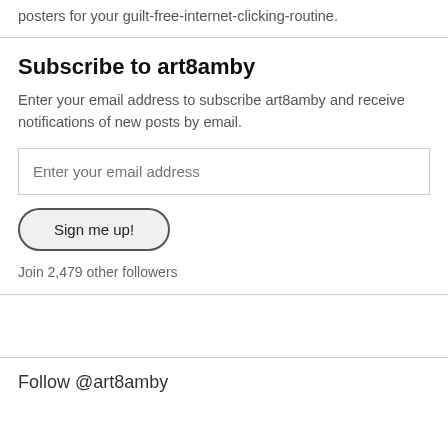posters for your guilt-free-internet-clicking-routine.
Subscribe to art8amby
Enter your email address to subscribe art8amby and receive notifications of new posts by email.
Enter your email address
Sign me up!
Join 2,479 other followers
Follow @art8amby